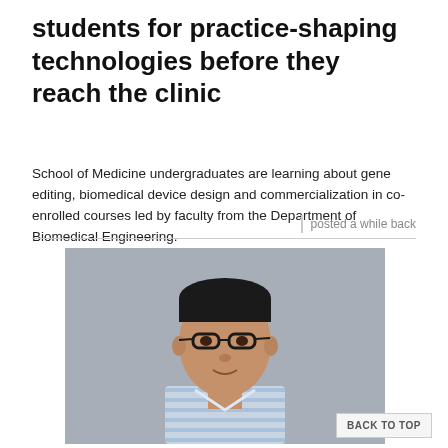students for practice-shaping technologies before they reach the clinic
School of Medicine undergraduates are learning about gene editing, biomedical device design and commercialization in co-enrolled courses led by faculty from the Department of Biomedical Engineering.
posted a while back
[Figure (photo): Professional headshot of a man wearing glasses and a blue and white striped shirt, photographed against a grey background.]
BACK TO TOP